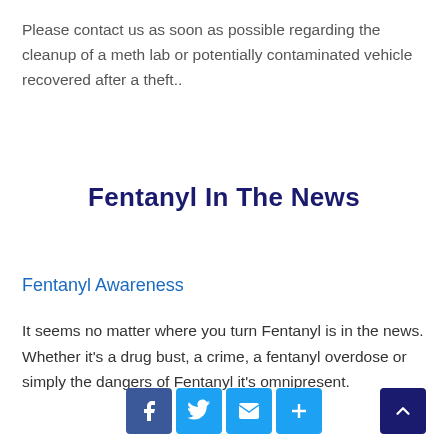Please contact us as soon as possible regarding the cleanup of a meth lab or potentially contaminated vehicle recovered after a theft..
Fentanyl In The News
Fentanyl Awareness
It seems no matter where you turn Fentanyl is in the news. Whether it's a drug bust, a crime, a fentanyl overdose or simply the dangers of Fentanyl it's omnipresent.